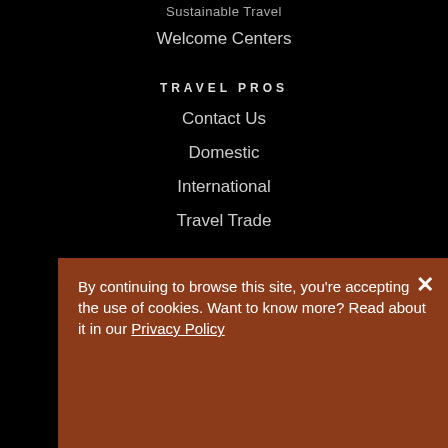Welcome Centers
TRAVEL PROS
Contact Us
Domestic
International
Travel Trade
OTHER SITES
Civil War Trail
Fish Tennessee
Kid Reviewed
TN Merchandise
Play TN Sports
TN Government
By continuing to browse this site, you're accepting the use of cookies. Want to know more? Read about it in our Privacy Policy